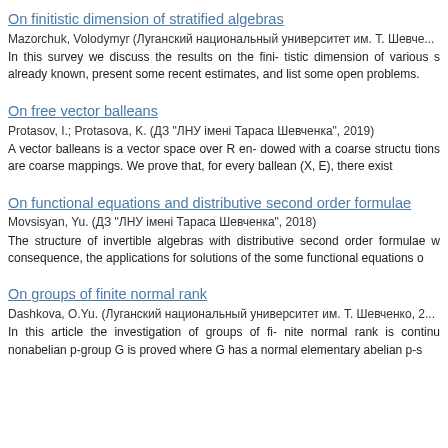On finitistic dimension of stratified algebras
Mazorchuk, Volodymyr (Луганский национальный университет им. Т. Шевче...
In this survey we discuss the results on the fini- tistic dimension of various s already known, present some recent estimates, and list some open problems.
On free vector balleans
Protasov, I.; Protasova, K. (ДЗ "ЛНУ імені Тараса Шевченка", 2019)
A vector balleans is a vector space over R en- dowed with a coarse structu tions are coarse mappings. We prove that, for every ballean (X, E), there exist
On functional equations and distributive second order formulae
Movsisyan, Yu. (ДЗ "ЛНУ імені Тараса Шевченка", 2018)
The structure of invertible algebras with distributive second order formulae w consequence, the applications for solutions of the some functional equations o
On groups of finite normal rank
Dashkova, O.Yu. (Луганский национальный университет им. Т. Шевченко, 2...
In this article the investigation of groups of fi- nite normal rank is continu nonabelian p-group G is proved where G has a normal elementary abelian p-s